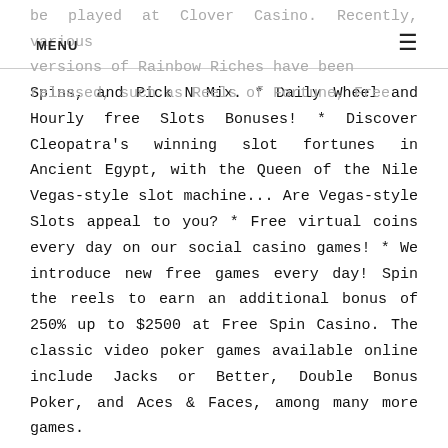be played at Clover Casino. Recently, various versions of Rainbow Riches have been released, such as Reels of Fortune, Free
Spins, and Pick N Mix. * Daily Wheel and Hourly free Slots Bonuses! * Discover Cleopatra's winning slot fortunes in Ancient Egypt, with the Queen of the Nile Vegas-style slot machine... Are Vegas-style Slots appeal to you? * Free virtual coins every day on our social casino games! * We introduce new free games every day! Spin the reels to earn an additional bonus of 250% up to $2500 at Free Spin Casino. The classic video poker games available online include Jacks or Better, Double Bonus Poker, and Aces & Faces, among many more games.